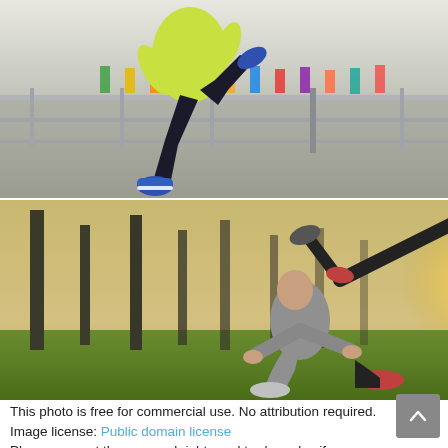[Figure (photo): A person in a yellow jacket and black leggings running outdoors along a railing, with colorful flags in the background.]
[Figure (photo): A person in grey athletic wear doing a complex yoga or acrobatic pose on grass in a park with trees and sunlight in the background.]
This photo is free for commercial use. No attribution required.
Image license: Public domain license
Please respect the personal rights and trademarks, if